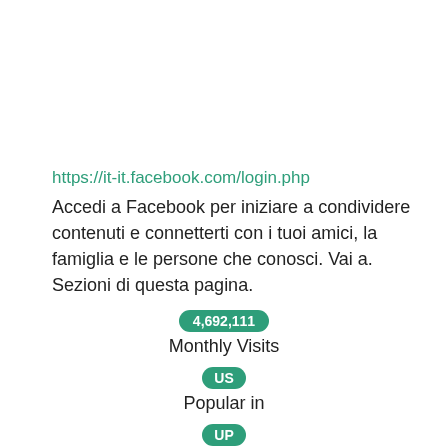https://it-it.facebook.com/login.php
Accedi a Facebook per iniziare a condividere contenuti e connetterti con i tuoi amici, la famiglia e le persone che conosci. Vai a. Sezioni di questa pagina.
4,692,111
Monthly Visits
US
Popular in
UP
Service Status